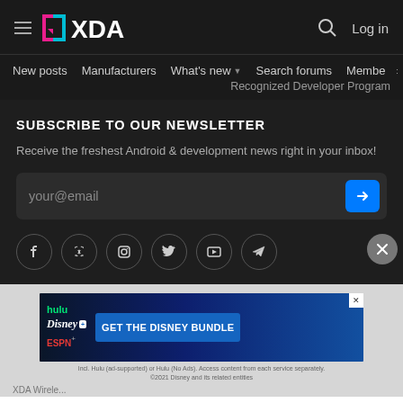XDA logo, hamburger menu, search icon, Log in
New posts | Manufacturers | What's new | Search forums | Members | >
Recognized Developer Program
SUBSCRIBE TO OUR NEWSLETTER
Receive the freshest Android & development news right in your inbox!
your@email
[Figure (infographic): Social media icons: Facebook, Discord, Instagram, Twitter, YouTube, Telegram]
[Figure (infographic): Disney Bundle advertisement banner: hulu, Disney+, ESPN+ logos with 'GET THE DISNEY BUNDLE' CTA button and fine print text]